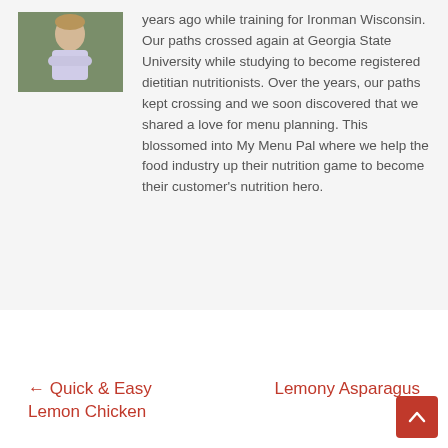[Figure (photo): Person with arms crossed, outdoor/nature background]
years ago while training for Ironman Wisconsin. Our paths crossed again at Georgia State University while studying to become registered dietitian nutritionists. Over the years, our paths kept crossing and we soon discovered that we shared a love for menu planning. This blossomed into My Menu Pal where we help the food industry up their nutrition game to become their customer's nutrition hero.
← Quick & Easy Lemon Chicken
Lemony Asparagus →